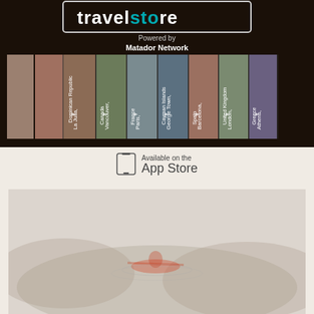[Figure (screenshot): TravelStoke app screenshot showing a grid of travel destination photos with location labels including La Julia Dominican Republic, Vancouver Canada, Paris France, George Town Cayman Islands, Barcelona Spain, London United Kingdom, Athens Greece. Text reads 'Powered by Matador Network'.]
[Figure (logo): Available on the App Store badge with phone icon.]
[Figure (photo): Faded/washed out photo of a person kayaking or in a canoe on water, viewed from above.]